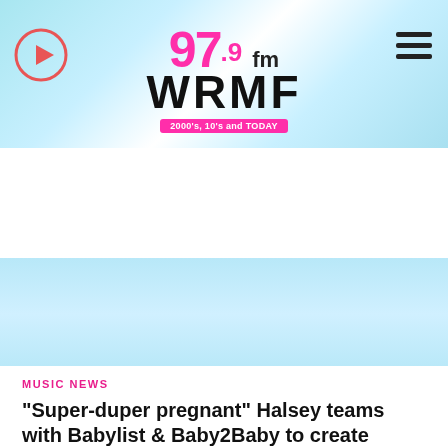[Figure (logo): 97.9 FM WRMF radio station logo with pink text and tagline '2000's, 10's and TODAY']
[Figure (infographic): Now Playing bar showing album art for Maroon 5, text 'NOW PLAYING', 'This Love', 'Maroon 5', and a play button]
[Figure (infographic): Advertisement banner for 2060 Digital with green button saying 'See Why Business Owners Love Us' and '2060 Digital CLICK TO LEARN MORE']
MUSIC NEWS
“Super-duper pregnant” Halsey teams with Babylist & Baby2Baby to create “group gift” for parents in need